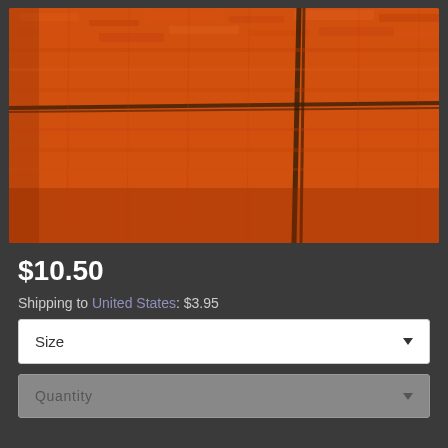[Figure (photo): Close-up macro photograph of orange/rust-colored textile fabric with dark brown/black cross-hatch or plaid pattern lines running through it. The fabric appears to be a wool or felt-like material with a textured surface.]
$10.50
Shipping to United States: $3.95
Size
Quantity